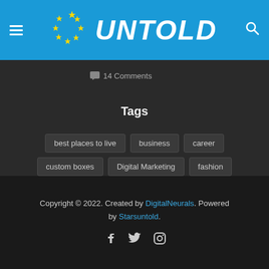UNTOLD
14 Comments
Tags
best places to live
business
career
custom boxes
Digital Marketing
fashion
Health
healthcare
home
lifestyle
moving preparations
SEO
small business
technology
Travel
Copyright © 2022. Created by DigitalNeurals. Powered by Starsuntold.